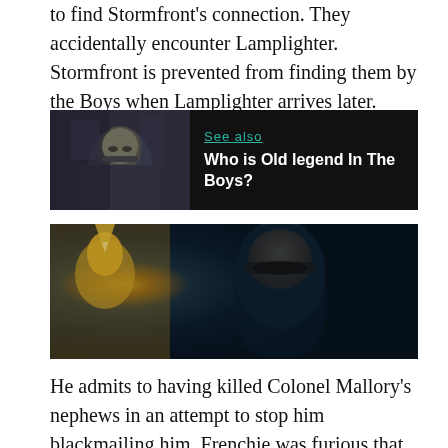to find Stormfront's connection. They accidentally encounter Lamplighter. Stormfront is prevented from finding them by the Boys when Lamplighter arrives later.
[Figure (photo): See also box with an image of an elderly man on the left and dark background on the right with teal 'See also' link and white bold text 'Who is Old legend In The Boys?']
[Figure (photo): A hooded figure wearing sunglasses holding a flame torch, dramatic dark teal lighting, appears to be Lamplighter character from The Boys TV series.]
He admits to having killed Colonel Mallory's nephews in an attempt to stop him blackmailing him. Frenchie was furious that Frenchie didn't stop him, however,